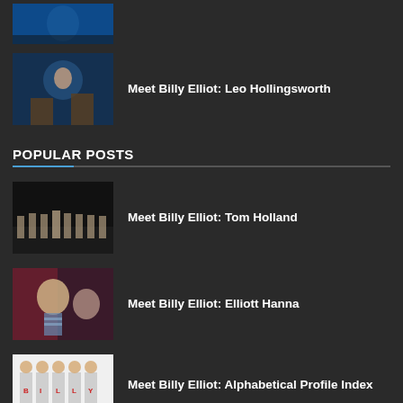[Figure (photo): Partially visible thumbnail at top of page - theater performance with blue lighting]
Meet Billy Elliot: Leo Hollingsworth
[Figure (photo): Boy in theater production scene with blue dramatic lighting and wooden structures]
POPULAR POSTS
Meet Billy Elliot: Tom Holland
[Figure (photo): Theater performance with group of performers on stage, black background]
Meet Billy Elliot: Elliott Hanna
[Figure (photo): Close-up of young actor in striped shirt with another person, red curtain background]
Meet Billy Elliot: Alphabetical Profile Index
[Figure (photo): Group of children wearing Billy Elliot show t-shirts spelling out BILLY]